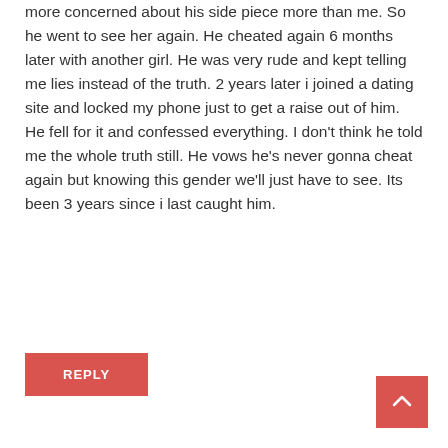more concerned about his side piece more than me. So he went to see her again. He cheated again 6 months later with another girl. He was very rude and kept telling me lies instead of the truth. 2 years later i joined a dating site and locked my phone just to get a raise out of him. He fell for it and confessed everything. I don't think he told me the whole truth still. He vows he's never gonna cheat again but knowing this gender we'll just have to see. Its been 3 years since i last caught him.
REPLY